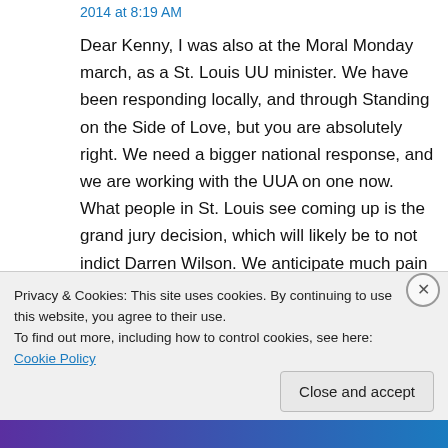2014 at 8:19 AM
Dear Kenny, I was also at the Moral Monday march, as a St. Louis UU minister. We have been responding locally, and through Standing on the Side of Love, but you are absolutely right. We need a bigger national response, and we are working with the UUA on one now. What people in St. Louis see coming up is the grand jury decision, which will likely be to not indict Darren Wilson. We anticipate much pain and outrage to follow (including our own!), and we are working
Privacy & Cookies: This site uses cookies. By continuing to use this website, you agree to their use.
To find out more, including how to control cookies, see here: Cookie Policy
Close and accept